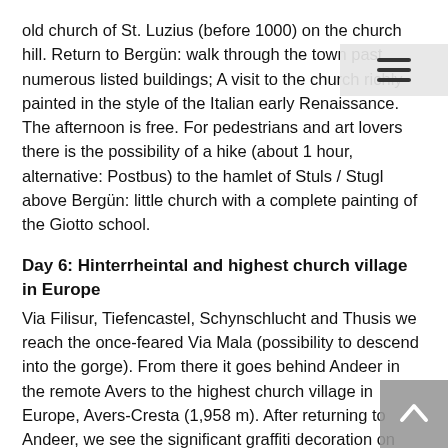old church of St. Luzius (before 1000) on the church hill. Return to Bergün: walk through the town past numerous listed buildings; A visit to the church richly painted in the style of the Italian early Renaissance. The afternoon is free. For pedestrians and art lovers there is the possibility of a hike (about 1 hour, alternative: Postbus) to the hamlet of Stuls / Stugl above Bergün: little church with a complete painting of the Giotto school.
Day 6: Hinterrheintal and highest church village in Europe
Via Filisur, Tiefencastel, Schynschlucht and Thusis we reach the once-feared Via Mala (possibility to descend into the gorge). From there it goes behind Andeer in the remote Avers to the highest church village in Europe, Avers-Cresta (1,958 m). After returning to Andeer, we see the significant graffiti decoration on Haus Pedrun. Completely adapted to the landscape is the small Romanesque church of Clugin with early Gothic painting. The artistic highlight of the day is the Church of St. Martin in Zillis with the most